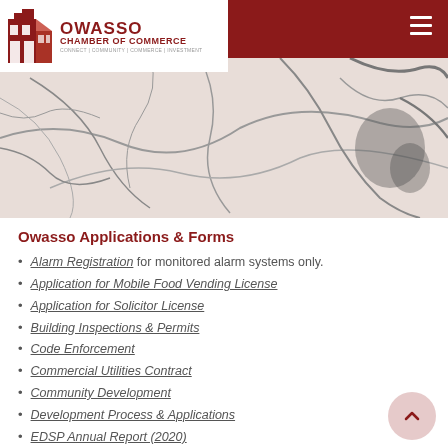[Figure (logo): Owasso Chamber of Commerce logo with red stylized building icon and text]
[Figure (map): Aerial or topographic map image of Owasso area showing roads and terrain in muted tones]
Owasso Applications & Forms
Alarm Registration for monitored alarm systems only.
Application for Mobile Food Vending License
Application for Solicitor License
Building Inspections & Permits
Code Enforcement
Commercial Utilities Contract
Community Development
Development Process & Applications
EDSP Annual Report (2020)
Fire Safety
GIS Mapping